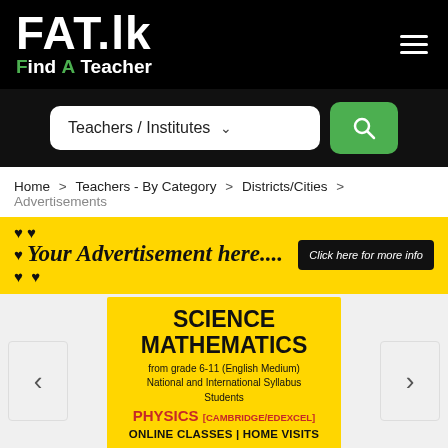FAT.lk Find A Teacher
[Figure (screenshot): Search bar with Teachers / Institutes dropdown and green search button]
Home > Teachers - By Category > Districts/Cities > Advertisements
[Figure (infographic): Yellow advertisement banner: Your Advertisement here.... Click here for more info]
[Figure (infographic): Yellow carousel card: SCIENCE MATHEMATICS from grade 6-11 (English Medium) National and International Syllabus Students. PHYSICS (CAMBRIDGE/EDEXCEL) ONLINE CLASSES | HOME VISITS]